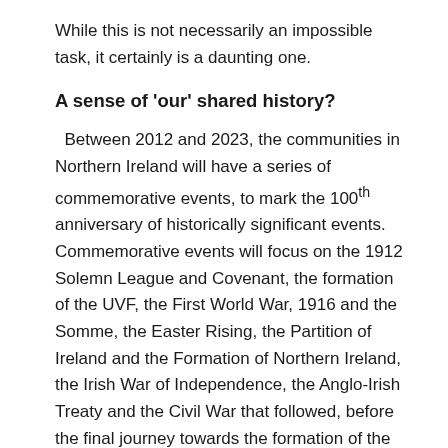While this is not necessarily an impossible task, it certainly is a daunting one.
A sense of 'our' shared history?
Between 2012 and 2023, the communities in Northern Ireland will have a series of commemorative events, to mark the 100th anniversary of historically significant events. Commemorative events will focus on the 1912 Solemn League and Covenant, the formation of the UVF, the First World War, 1916 and the Somme, the Easter Rising, the Partition of Ireland and the Formation of Northern Ireland, the Irish War of Independence, the Anglo-Irish Treaty and the Civil War that followed, before the final journey towards the formation of the Republic of Ireland began. A number of excellent resources have been created to help teachers navigate their way to 2023.[13]
The key element in all of this is to try and give all students in